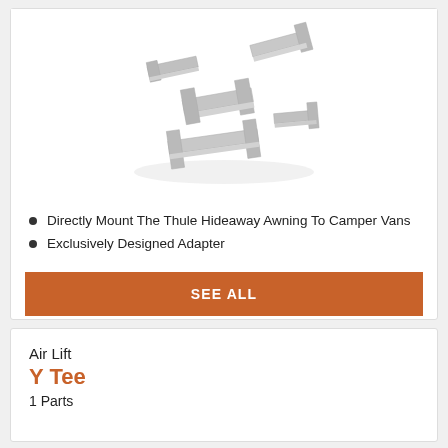[Figure (photo): Multiple metal bracket/adapter parts arranged diagonally, silver/gray color, for mounting Thule Hideaway Awning to Camper Vans]
Directly Mount The Thule Hideaway Awning To Camper Vans
Exclusively Designed Adapter
SEE ALL
Air Lift
Y Tee
1 Parts